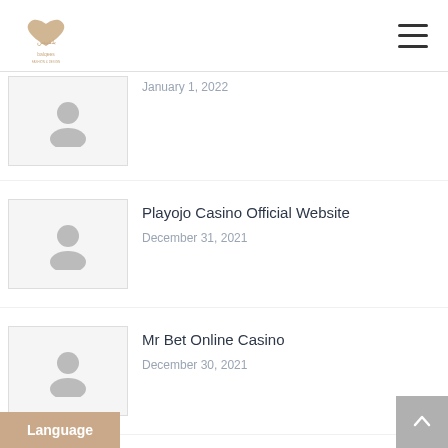balqees
January 1, 2022
Playojo Casino Official Website
December 31, 2021
Mr Bet Online Casino
December 30, 2021
Online Casino Usa Real Money
December 30, 2021